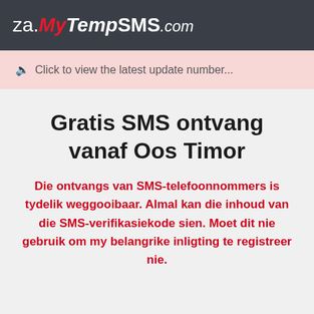za.MyTempSMS.com
🔈 Click to view the latest update number...
Gratis SMS ontvang vanaf Oos Timor
Die ontvangs van SMS-telefoonnommers is tydelik weggooibaar. Almal kan die inhoud van die SMS-verifikasiekode sien. Moet dit nie gebruik om my belangrike inligting te registreer nie.